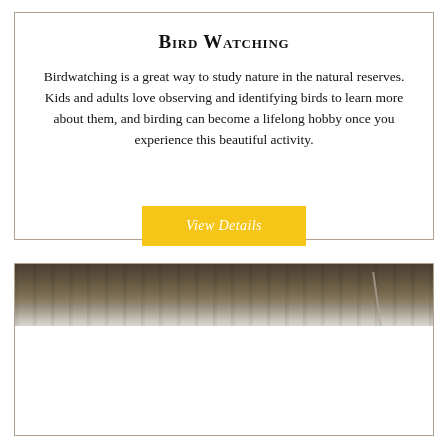Bird Watching
Birdwatching is a great way to study nature in the natural reserves. Kids and adults love observing and identifying birds to learn more about them, and birding can become a lifelong hobby once you experience this beautiful activity.
View Details
[Figure (photo): A photograph showing a weathered wooden surface or structure, visible at the top of the lower card section. The image has muted brown and grey tones suggesting aged wood or a similar natural material outdoors.]